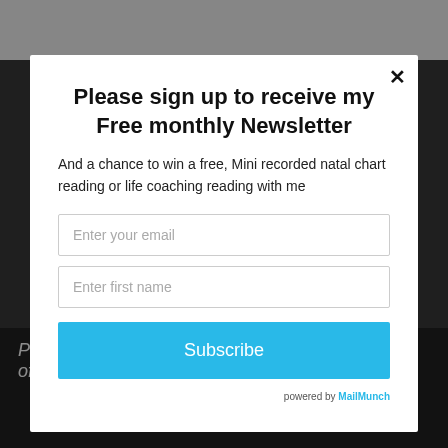Please sign up to receive my Free monthly Newsletter
And a chance to win a free, Mini recorded natal chart reading or life coaching reading with me
Enter your email
Enter first name
Subscribe
powered by MailMunch
Persephone, dances there then dances, until one of them, usually Persephone, jumps ship for good.